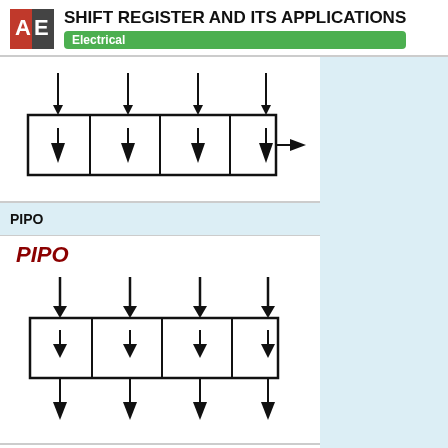SHIFT REGISTER AND ITS APPLICATIONS | Electrical
[Figure (schematic): PISO shift register diagram: four parallel input arrows pointing down into four register cells arranged horizontally, with a single output arrow pointing right from the last cell.]
PIPO
PIPO
[Figure (schematic): PIPO shift register diagram: four parallel input arrows pointing down into four register cells, and four parallel output arrows pointing down out of each cell.]
In this type parallel data is loaded int will be transferred together with the s
1 / 1